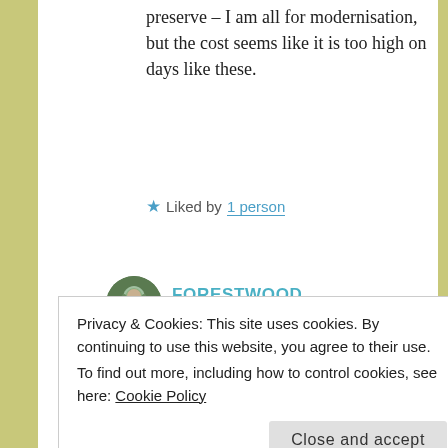preserve – I am all for modernisation, but the cost seems like it is too high on days like these.
Liked by 1 person
FORESTWOOD
January 31, 2020 at 2:46 pm
Species cannot be brought back from extinction, no matter what
Privacy & Cookies: This site uses cookies. By continuing to use this website, you agree to their use.
To find out more, including how to control cookies, see here: Cookie Policy